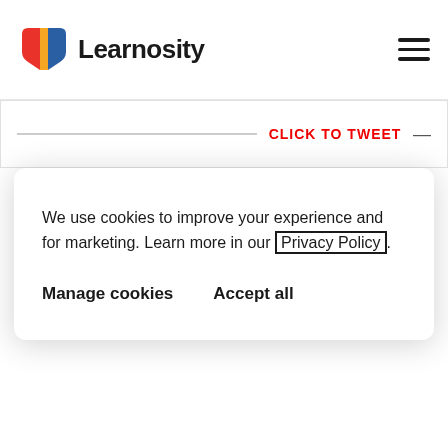[Figure (logo): Learnosity logo with colorful book icon and text 'Learnosity']
CLICK TO TWEET
We use cookies to improve your experience and for marketing. Learn more in our Privacy Policy.
Manage cookies    Accept all
Even though the timeline for change is uncertain, the need for it surely isn't. Millions of learners today are already using technology, and future generations will, as digital natives, be expert navigators. If education